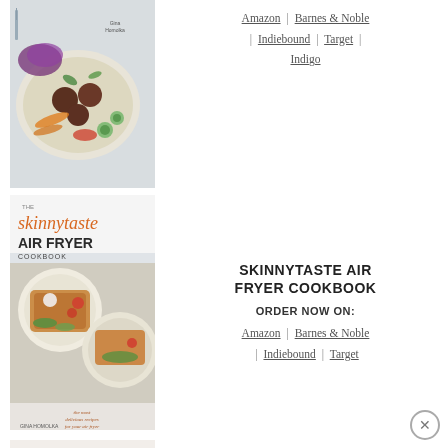[Figure (photo): Partial book cover showing a plate of food with meatballs, vegetables, and salad ingredients on a white background, with 'Gina Homolka' text visible]
Amazon | Barnes & Noble | Indiebound | Target | Indigo
[Figure (photo): Skinnytaste Air Fryer Cookbook cover showing crispy air-fried food on plates with green garnishes, by Gina Homolka]
SKINNYTASTE AIR FRYER COOKBOOK
ORDER NOW ON:
Amazon | Barnes & Noble | Indiebound | Target
[Figure (photo): Skinnytaste One & Done cookbook cover showing braised meat dish with tomatoes and herbs, by Gina Homolka]
SKINNYTASTE ONE & DONE
ORDER NOW ON:
Amazon | Barnes & Noble | Indiebound | Target